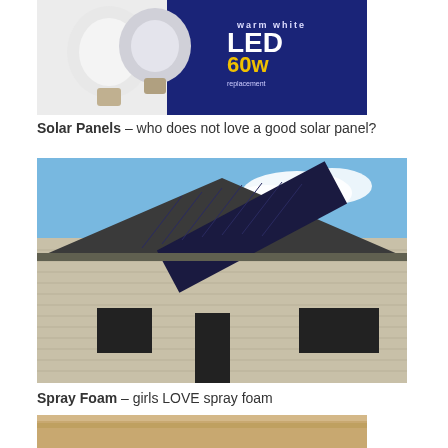[Figure (photo): Photo of LED light bulbs — a CFL bulb on the left and a packaged LED 60w replacement bulb on the right against a dark blue background]
Solar Panels – who does not love a good solar panel?
[Figure (photo): Photo of a house with solar panels installed on a metal roof, blue sky with clouds in background, light tan siding]
Spray Foam – girls LOVE spray foam
[Figure (photo): Partial photo at bottom of page, appears to show spray foam or insulation material]